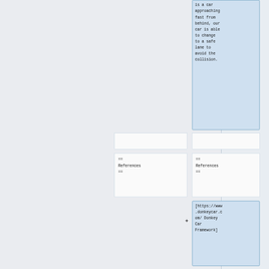is a car approaching fast from behind, our car is able to change to a safe lane to avoid the collision.
== References ==
== References ==
[https://www.donkeycar.com/ Donkey Car Framework]